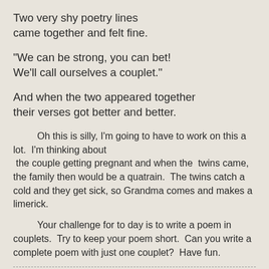Two very shy poetry lines
came together and felt fine.
"We can be strong, you can bet!
We'll call ourselves a couplet."
And when the two appeared together
their verses got better and better.
Oh this is silly, I'm going to have to work on this a lot.  I'm thinking about
 the couple getting pregnant and when the  twins came, the family then would be a quatrain.  The twins catch a cold and they get sick, so Grandma comes and makes a limerick.
Your challenge for to day is to write a poem in couplets.  Try to keep your poem short.  Can you write a complete poem with just one couplet?  Have fun.
Joy at 7:23 AM   1 comment: